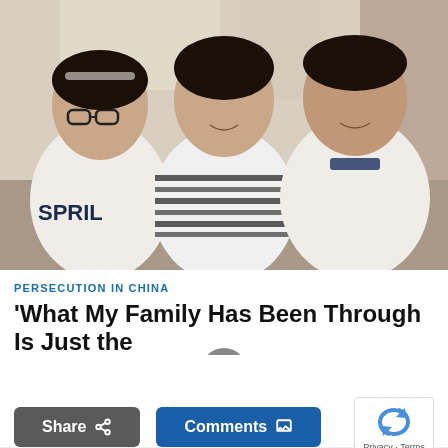[Figure (photo): A family of three — a teenage girl with glasses on the left wearing a white 'SPRIL' t-shirt, a woman in the center wearing a black and white striped top, and a man on the right wearing a white polo shirt with a dark collar — sitting together indoors for a portrait photo.]
PERSECUTION IN CHINA
'What My Family Has Been Through Is Just the Tip of the Iceberg': Man Whose Daughter...